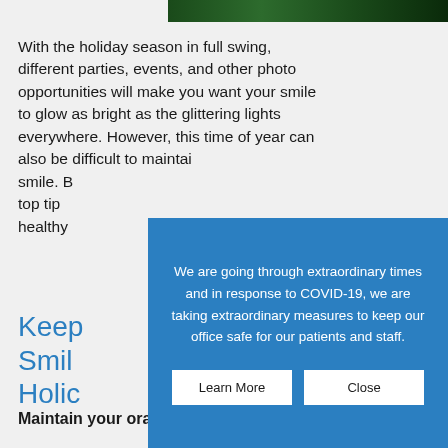[Figure (photo): Dark green foliage or holiday decoration photo strip at top of page]
With the holiday season in full swing, different parties, events, and other photo opportunities will make you want your smile to glow as bright as the glittering lights everywhere. However, this time of year can also be difficult to maintain... smile. B... top tip... healthy...
Keep
Smil
Holi
We are going through extraordinary times and in response to COVID-19, we are taking extraordinary measures to keep our office safe for our patients and staff.
Maintain your oral health routine